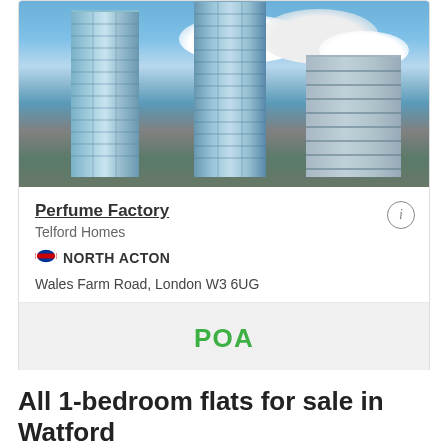[Figure (photo): Aerial/street-level photo of tall modern glass residential tower buildings against a partly cloudy blue sky, with an office building visible to the right.]
Perfume Factory
Telford Homes
NORTH ACTON
Wales Farm Road, London W3 6UG
POA
All 1-bedroom flats for sale in Watford